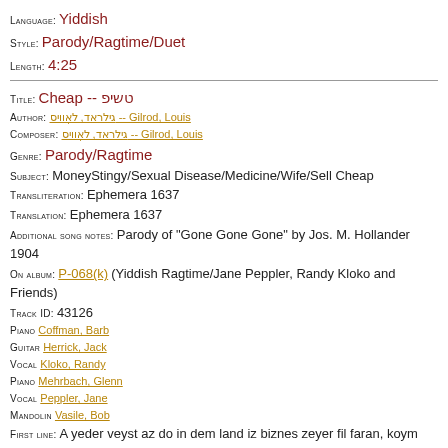Language: Yiddish
Style: Parody/Ragtime/Duet
Length: 4:25
Title: Cheap -- טשיפ
Author: Gilrod, Louis -- גילראד, לאָוויס
Composer: Gilrod, Louis -- גילראד, לאָוויס
Genre: Parody/Ragtime
Subject: MoneyStingy/Sexual Disease/Medicine/Wife/Sell Cheap
Transliteration: Ephemera 1637
Translation: Ephemera 1637
Additional song notes: Parody of "Gone Gone Gone" by Jos. M. Hollander 1904
On album: P-068(k) (Yiddish Ragtime/Jane Peppler, Randy Kloko and Friends)
Track ID: 43126
Piano Coffman, Barb
Guitar Herrick, Jack
Vocal Kloko, Randy
Piano Mehrbach, Glenn
Vocal Peppler, Jane
Mandolin Vasile, Bob
First line: A yeder veyst az do in dem land iz biznes zeyer fil faran, koym hot ir nor a hisl farshtand, vert ir zeyer laykht a